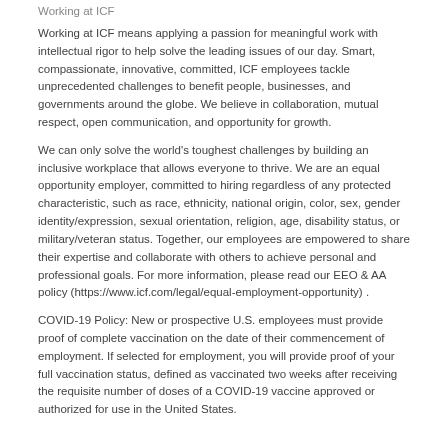Working at ICF
Working at ICF means applying a passion for meaningful work with intellectual rigor to help solve the leading issues of our day. Smart, compassionate, innovative, committed, ICF employees tackle unprecedented challenges to benefit people, businesses, and governments around the globe. We believe in collaboration, mutual respect, open communication, and opportunity for growth.
We can only solve the world's toughest challenges by building an inclusive workplace that allows everyone to thrive. We are an equal opportunity employer, committed to hiring regardless of any protected characteristic, such as race, ethnicity, national origin, color, sex, gender identity/expression, sexual orientation, religion, age, disability status, or military/veteran status. Together, our employees are empowered to share their expertise and collaborate with others to achieve personal and professional goals. For more information, please read our EEO & AA policy (https://www.icf.com/legal/equal-employment-opportunity) .
COVID-19 Policy: New or prospective U.S. employees must provide proof of complete vaccination on the date of their commencement of employment. If selected for employment, you will provide proof of your full vaccination status, defined as vaccinated two weeks after receiving the requisite number of doses of a COVID-19 vaccine approved or authorized for use in the United States.